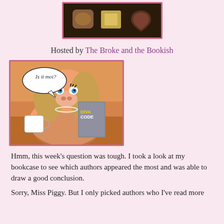[Figure (photo): Photo of chocolate box with assorted chocolates, bordered in pink]
Hosted by The Broke and the Bookish
[Figure (photo): Miss Piggy sitting at a table holding a 'Diva Code' book with a speech bubble saying 'Is it moi?' and a mug in front of her]
Hmm, this week's question was tough. I took a look at my bookcase to see which authors appeared the most and was able to draw a good conclusion.
Sorry, Miss Piggy. But I only picked authors who I've read more